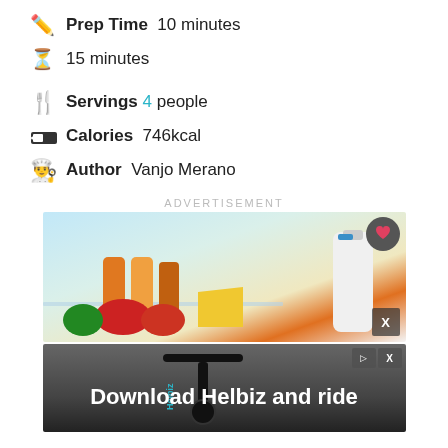Prep Time  10 minutes
15 minutes
Servings  4 people
Calories  746kcal
Author  Vanjo Merano
ADVERTISEMENT
[Figure (photo): Refrigerator open with vegetables, peppers, juice bottles, cheese, and a milk bottle]
[Figure (photo): Advertisement image with a scooter and text 'Download Helbiz and ride']